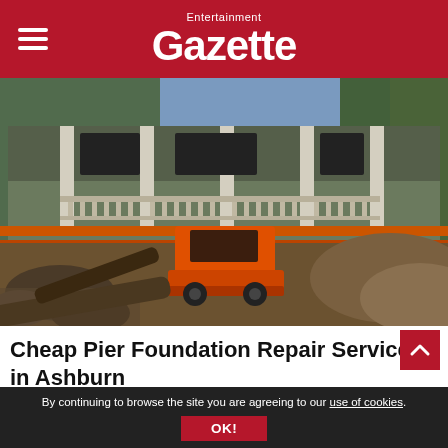Entertainment Gazette
[Figure (photo): Construction site showing a house elevated above ground with an orange skid steer loader underneath, surrounded by excavated earth, rocks, and debris — a foundation repair or house lifting operation.]
Cheap Pier Foundation Repair Services in Ashburn
Home Foundation Fix | Search Ads | Sponsored
By continuing to browse the site you are agreeing to our use of cookies.
OK!